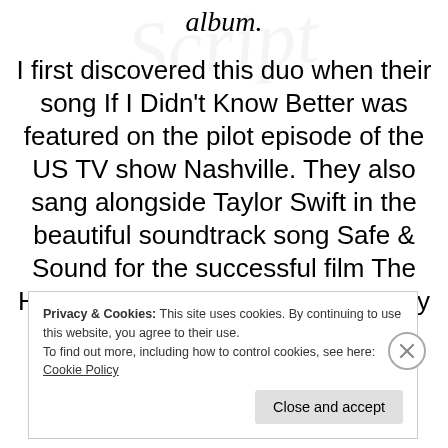album.
I first discovered this duo when their song If I Didn't Know Better was featured on the pilot episode of the US TV show Nashville. They also sang alongside Taylor Swift in the beautiful soundtrack song Safe & Sound for the successful film The Hunger Games. I was captivated by their harmonies, the smooth and
Privacy & Cookies: This site uses cookies. By continuing to use this website, you agree to their use.
To find out more, including how to control cookies, see here: Cookie Policy
Close and accept